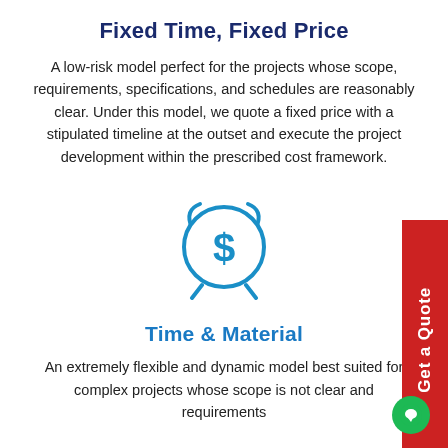Fixed Time, Fixed Price
A low-risk model perfect for the projects whose scope, requirements, specifications, and schedules are reasonably clear. Under this model, we quote a fixed price with a stipulated timeline at the outset and execute the project development within the prescribed cost framework.
[Figure (illustration): Blue alarm clock icon with a dollar sign in the center, representing fixed price model]
Time & Material
An extremely flexible and dynamic model best suited for complex projects whose scope is not clear and requirements